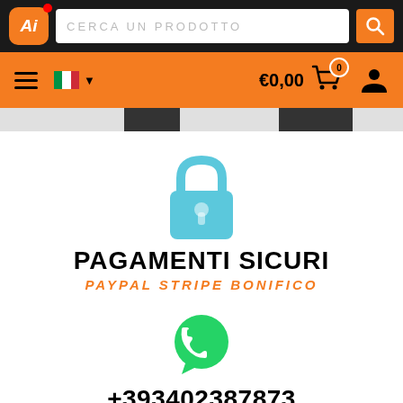[Figure (screenshot): E-commerce website header with logo 'Ai', search bar 'CERCA UN PRODOTTO', orange navigation bar with hamburger menu, Italian flag, cart showing €0,00 with badge 0, and user icon]
[Figure (illustration): Blue padlock icon representing secure payments]
PAGAMENTI SICURI
PAYPAL STRIPE BONIFICO
[Figure (illustration): Green WhatsApp logo icon]
+393402387873
ASSISTENZA CLIENTI